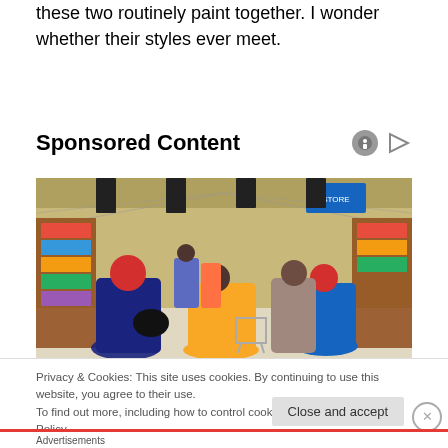these two routinely paint together. I wonder whether their styles ever meet.
Sponsored Content
[Figure (photo): Interior of a busy retail grocery store (Walmart-style) with shoppers pushing carts down a wide aisle, colorful product displays on both sides, overhead fluorescent lighting, and store signage visible.]
Privacy & Cookies: This site uses cookies. By continuing to use this website, you agree to their use.
To find out more, including how to control cookies, see here: Cookie Policy
Close and accept
Advertisements